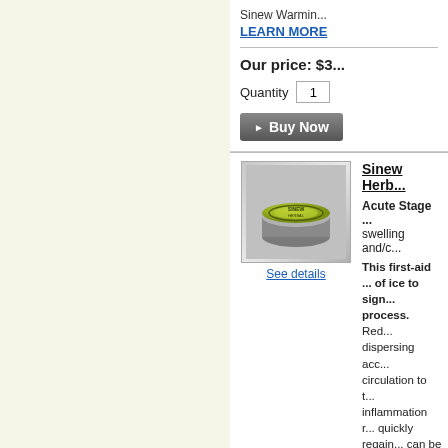Sinew Warmin...
LEARN MORE
Our price: $3...
Quantity  1
► Buy Now
[Figure (photo): Circular tin product with green label - Sinew Herb product]
See details
Sinew Herb...
Acute Stage ... swelling and/c...
This first-aid ... of ice to sign... process. Red... dispersing acc... circulation to t... inflammation r... quickly regain... can be used i...
LEARN MORE
Our price: $3...
Quantity  1